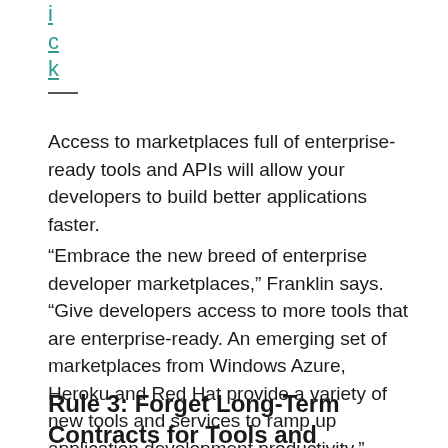i
c
k
Access to marketplaces full of enterprise-ready tools and APIs will allow your developers to build better applications faster.
“Embrace the new breed of enterprise developer marketplaces,” Franklin says. “Give developers access to more tools that are enterprise-ready. An emerging set of marketplaces from Windows Azure, Heroku and Red Hat provide a variety of new tools and services to ramp up application development productivity.”
Rule 3: Forget Long-Term Contracts for Tools and Services